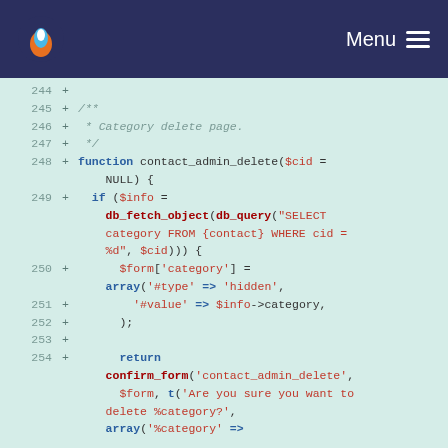Menu
[Figure (screenshot): Code diff screenshot showing PHP function contact_admin_delete with lines 244-254, syntax highlighted on a light green background. Lines show a category delete page function with db_fetch_object, db_query, $form array, and return confirm_form call.]